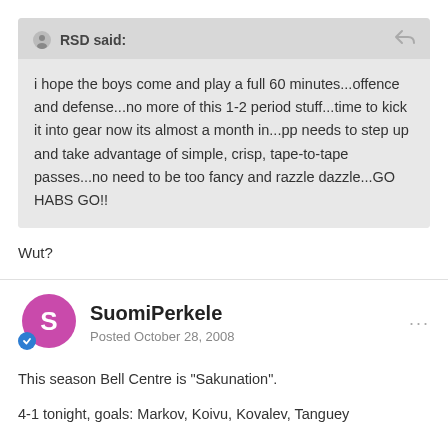RSD said: i hope the boys come and play a full 60 minutes...offence and defense...no more of this 1-2 period stuff...time to kick it into gear now its almost a month in...pp needs to step up and take advantage of simple, crisp, tape-to-tape passes...no need to be too fancy and razzle dazzle...GO HABS GO!!
Wut?
SuomiPerkele
Posted October 28, 2008
This season Bell Centre is "Sakunation".
4-1 tonight, goals: Markov, Koivu, Kovalev, Tanguey